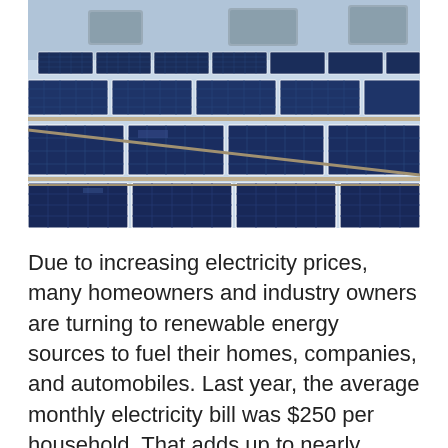[Figure (photo): Aerial/ground-level view of rows of blue solar panels installed on a flat rooftop, with HVAC units visible in the background under a clear sky.]
Due to increasing electricity prices, many homeowners and industry owners are turning to renewable energy sources to fuel their homes, companies, and automobiles. Last year, the average monthly electricity bill was $250 per household. That adds up to nearly $150,000 in electricity alone over the next 25 years. The efficiency of the solar installer and machinery